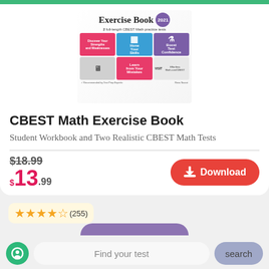[Figure (illustration): Book cover for CBEST Math Exercise Book 2021 showing practice test modules grid]
CBEST Math Exercise Book
Student Workbook and Two Realistic CBEST Math Tests
$18.99 $13.99 Download
★★★★☆(255)
Find your test
search